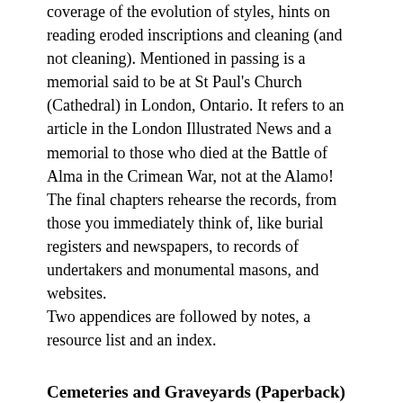coverage of the evolution of styles, hints on reading eroded inscriptions and cleaning (and not cleaning). Mentioned in passing is a memorial said to be at St Paul's Church (Cathedral) in London, Ontario. It refers to an article in the London Illustrated News and a memorial to those who died at the Battle of Alma in the Crimean War, not at the Alamo!
The final chapters rehearse the records, from those you immediately think of, like burial registers and newspapers, to records of undertakers and monumental masons, and websites.
Two appendices are followed by notes, a resource list and an index.
Cemeteries and Graveyards (Paperback)
A Guide for Local and Family Historians in England and Wales
By Celia Heritage